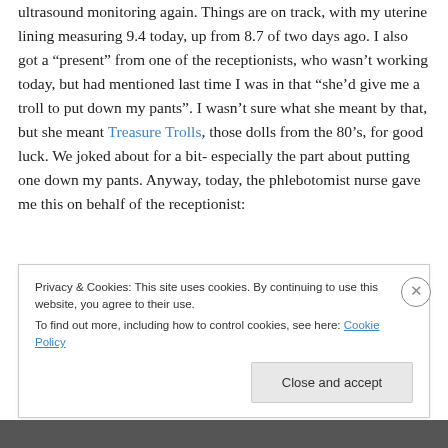ultrasound monitoring again. Things are on track, with my uterine lining measuring 9.4 today, up from 8.7 of two days ago. I also got a “present” from one of the receptionists, who wasn’t working today, but had mentioned last time I was in that “she’d give me a troll to put down my pants”. I wasn’t sure what she meant by that, but she meant Treasure Trolls, those dolls from the 80’s, for good luck. We joked about for a bit- especially the part about putting one down my pants. Anyway, today, the phlebotomist nurse gave me this on behalf of the receptionist:
Privacy & Cookies: This site uses cookies. By continuing to use this website, you agree to their use. To find out more, including how to control cookies, see here: Cookie Policy